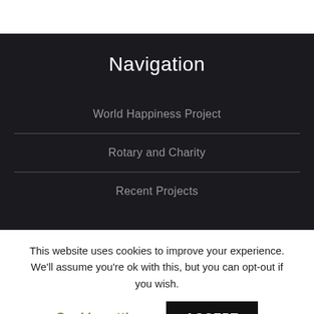Navigation
World Happiness Project
Rotary and Charity
Recent Projects
This website uses cookies to improve your experience. We'll assume you're ok with this, but you can opt-out if you wish.
Cookie settings
ACCEPT